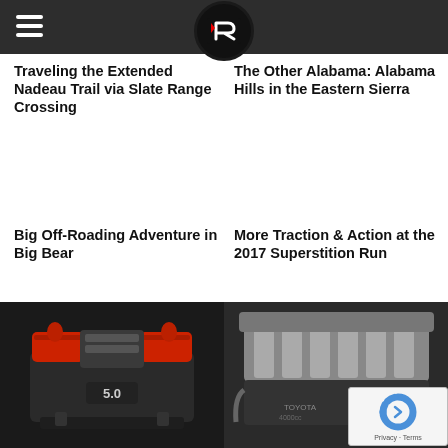Traveling the Extended Nadeau Trail via Slate Range Crossing
The Other Alabama: Alabama Hills in the Eastern Sierra
Big Off-Roading Adventure in Big Bear
More Traction & Action at the 2017 Superstition Run
[Figure (photo): Close-up of a 5.0 engine bay with red valve covers and chrome intake manifold]
[Figure (photo): Close-up of a silver/grey engine with intake manifold and turbo components]